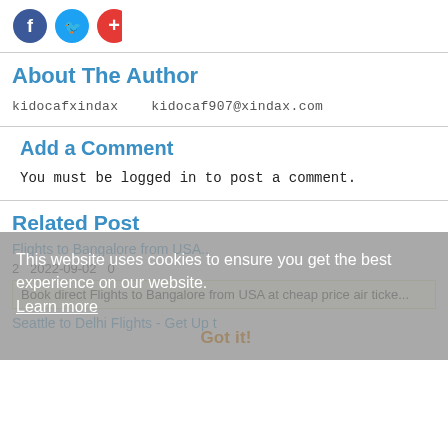[Figure (logo): Social share icons: Facebook (blue circle with f), Twitter (blue circle with bird), and a red circle with plus sign]
About The Author
kidocafxindax    kidocaf907@xindax.com
Add a Comment
You must be logged in to post a comment.
Related Post
Flights to Bangalore from USA..
2   2022-09-02   0
Book direct Flights to Bangalore from USA at cheap price air ticke...
This website uses cookies to ensure you get the best experience on our website.
Learn more
Got it!
Seattle to Delhi Flights - Get Up t